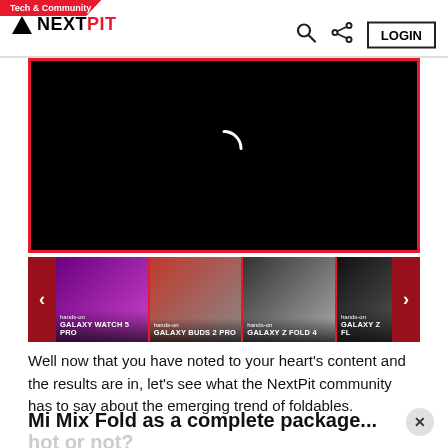Tech & Community | NEXTPIT | LOGIN
[Figure (screenshot): Black video player with loading spinner, bordered in red]
[Figure (screenshot): Carousel of hands-on videos: Galaxy Watch 5 Pro, Galaxy Buds 2 Pro, Galaxy Z Fold 4, Galaxy Z Fl... with left/right navigation arrows]
Well now that you have noted to your heart's content and the results are in, let's see what the NextPit community has to say about the emerging trend of foldables.
Mi Mix Fold as a complete package... hot or not?